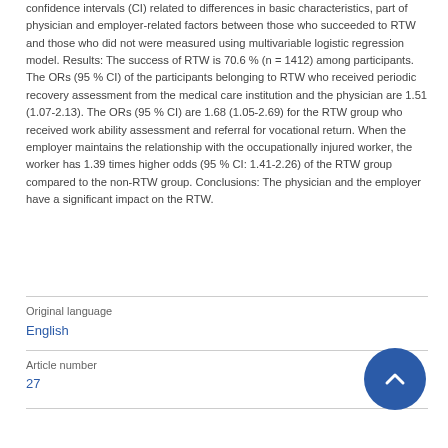confidence intervals (CI) related to differences in basic characteristics, part of physician and employer-related factors between those who succeeded to RTW and those who did not were measured using multivariable logistic regression model. Results: The success of RTW is 70.6 % (n = 1412) among participants. The ORs (95 % CI) of the participants belonging to RTW who received periodic recovery assessment from the medical care institution and the physician are 1.51 (1.07-2.13). The ORs (95 % CI) are 1.68 (1.05-2.69) for the RTW group who received work ability assessment and referral for vocational return. When the employer maintains the relationship with the occupationally injured worker, the worker has 1.39 times higher odds (95 % CI: 1.41-2.26) of the RTW group compared to the non-RTW group. Conclusions: The physician and the employer have a significant impact on the RTW.
| Field | Value |
| --- | --- |
| Original language | English |
| Article number | 27 |